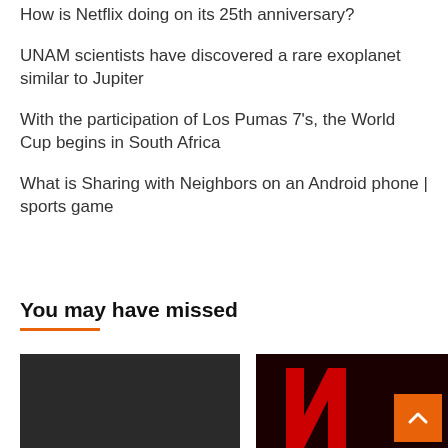How is Netflix doing on its 25th anniversary?
UNAM scientists have discovered a rare exoplanet similar to Jupiter
With the participation of Los Pumas 7’s, the World Cup begins in South Africa
What is Sharing with Neighbors on an Android phone | sports game
You may have missed
[Figure (photo): Dark gray/black image placeholder on the left]
[Figure (photo): Dark image with red Netflix N logo and orange back-to-top button]